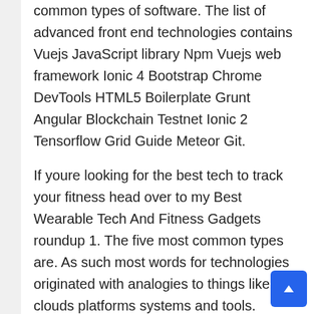common types of software. The list of advanced front end technologies contains Vuejs JavaScript library Npm Vuejs web framework Ionic 4 Bootstrap Chrome DevTools HTML5 Boilerplate Grunt Angular Blockchain Testnet Ionic 2 Tensorflow Grid Guide Meteor Git.
If youre looking for the best tech to track your fitness head over to my Best Wearable Tech And Fitness Gadgets roundup 1. The five most common types are. As such most words for technologies originated with analogies to things like clouds platforms systems and tools.
The common types of software. Analogue is a conventional method of transmitting data. Chiba Institute of Technology.